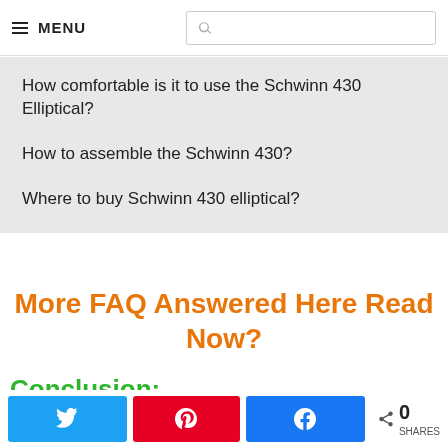≡ MENU [search box]
How comfortable is it to use the Schwinn 430 Elliptical?
How to assemble the Schwinn 430?
Where to buy Schwinn 430 elliptical?
More FAQ Answered Here Read Now?
Conclusion:
Twitter share | Pinterest share | Facebook share | 0 SHARES